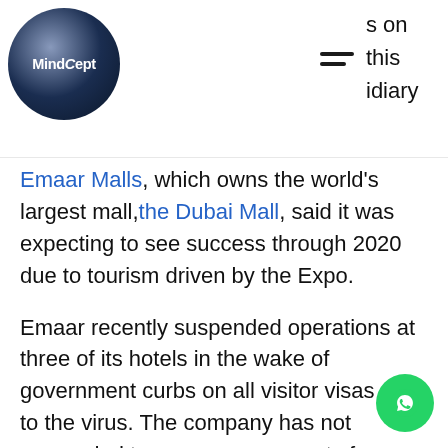MindCept — navigation header with logo and menu icon. Partial text visible: 's on', 'this', 'idiary'
Emaar Malls, which owns the world's largest mall,the Dubai Mall, said it was expecting to see success through 2020 due to tourism driven by the Expo.
Emaar recently suspended operations at three of its hotels in the wake of government curbs on all visitor visas due to the virus. The company has not responded to numerous requests for comment by The Associated Press.
Emaar's revenue of $6.7 billion in 2019 was down from $7 billion the